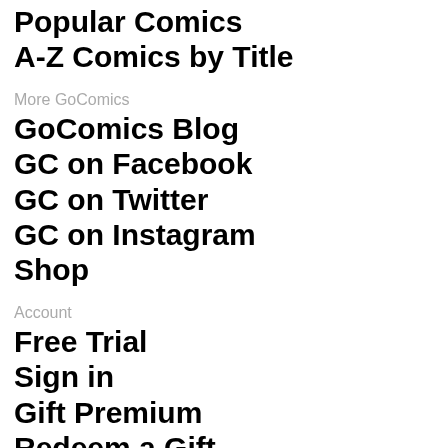Popular Comics
A-Z Comics by Title
More GoComics
GoComics Blog
GC on Facebook
GC on Twitter
GC on Instagram
Shop
Account
Free Trial
Sign in
Gift Premium
Redeem a Gift